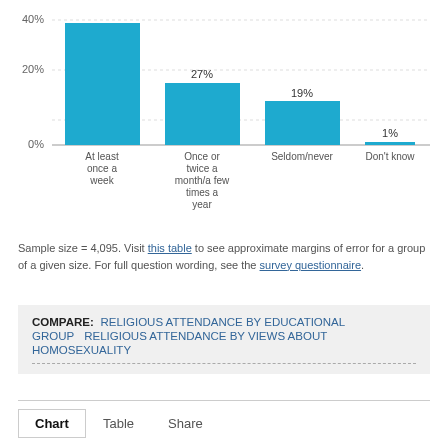[Figure (bar-chart): ]
Sample size = 4,095. Visit this table to see approximate margins of error for a group of a given size. For full question wording, see the survey questionnaire.
COMPARE: RELIGIOUS ATTENDANCE BY EDUCATIONAL GROUP  RELIGIOUS ATTENDANCE BY VIEWS ABOUT HOMOSEXUALITY
Chart  Table  Share